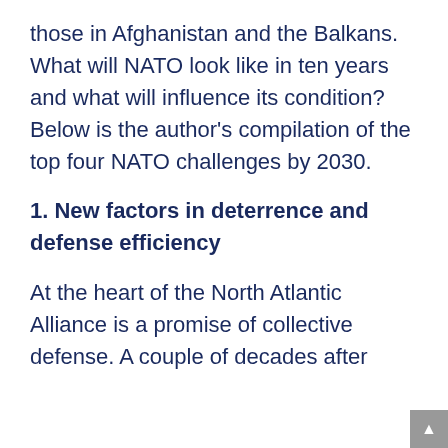those in Afghanistan and the Balkans. What will NATO look like in ten years and what will influence its condition? Below is the author's compilation of the top four NATO challenges by 2030.
1. New factors in deterrence and defense efficiency
At the heart of the North Atlantic Alliance is a promise of collective defense. A couple of decades after